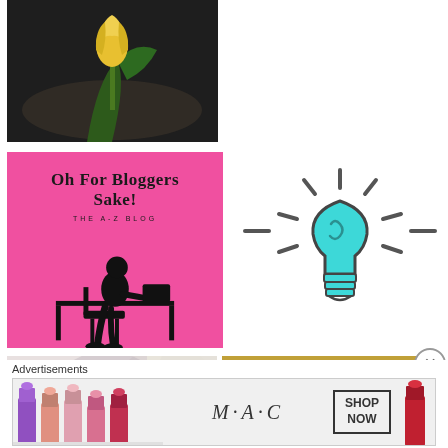[Figure (photo): Close-up photo of a yellow tulip on a dark textured surface with a green leaf]
[Figure (logo): Pink square logo reading 'Oh For Bloggers Sake! THE A-Z BLOG' with a silhouette of a person sitting at a desk]
[Figure (illustration): Line art illustration of a glowing teal lightbulb with rays emanating outward on white background]
[Figure (photo): Blurry selfie-style photo of a woman with glasses]
[Figure (photo): Bronze statue of two figures on horseback against a golden background]
Advertisements
[Figure (photo): MAC cosmetics advertisement banner showing colorful lipsticks with MAC logo and SHOP NOW button]